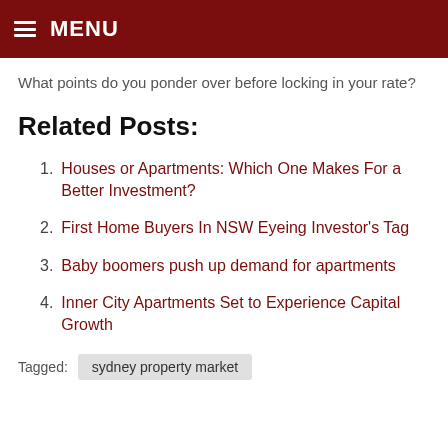MENU
What points do you ponder over before locking in your rate?
Related Posts:
Houses or Apartments: Which One Makes For a Better Investment?
First Home Buyers In NSW Eyeing Investor's Tag
Baby boomers push up demand for apartments
Inner City Apartments Set to Experience Capital Growth
Tagged: sydney property market